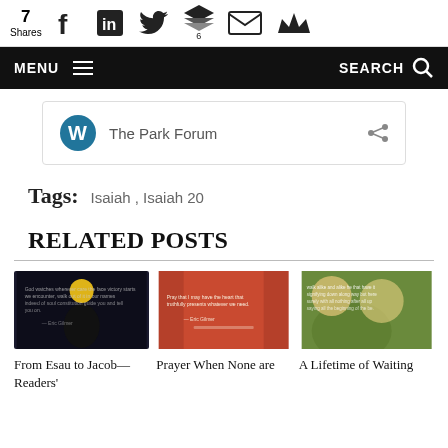7 Shares — social share icons (Facebook, LinkedIn, Twitter, Buffer 6, Email, Crown)
MENU  SEARCH
[Figure (screenshot): WordPress follow card for The Park Forum with share icon]
Tags:  Isaiah , Isaiah 20
RELATED POSTS
[Figure (photo): Dark silhouette photo with quote text overlay — From Esau to Jacob—Readers']
[Figure (photo): Orange/red background photo with quote — Prayer When None are]
[Figure (photo): Two people in sunflower field — A Lifetime of Waiting]
From Esau to Jacob—Readers'
Prayer When None are
A Lifetime of Waiting